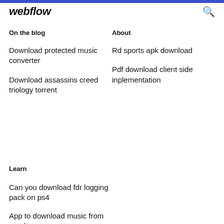webflow
On the blog
About
Download protected music converter
Rd sports apk download
Download assassins creed triology torrent
Pdf download client side inplementation
Learn
Can you download fdr logging pack on ps4
App to download music from pandora